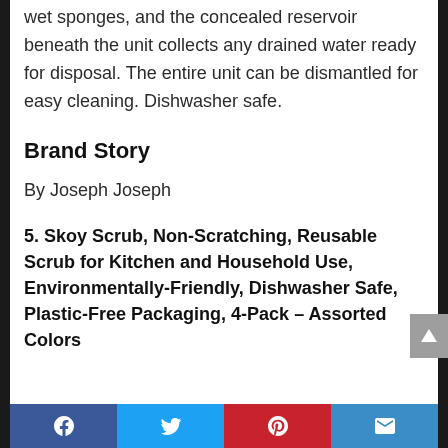wet sponges, and the concealed reservoir beneath the unit collects any drained water ready for disposal. The entire unit can be dismantled for easy cleaning. Dishwasher safe.
Brand Story
By Joseph Joseph
5. Skoy Scrub, Non-Scratching, Reusable Scrub for Kitchen and Household Use, Environmentally-Friendly, Dishwasher Safe, Plastic-Free Packaging, 4-Pack – Assorted Colors